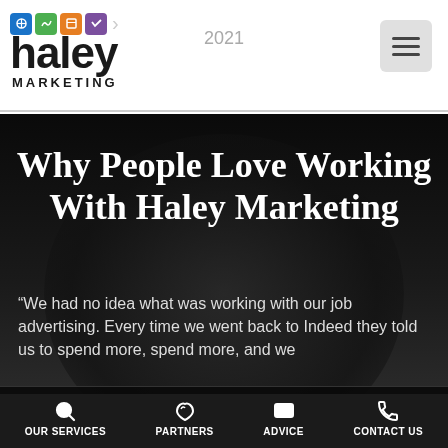[Figure (logo): Haley Marketing logo with four colored icon boxes, the word 'haley' in large bold text, 'MARKETING' below in spaced caps, and '2021' in gray to the right]
[Figure (screenshot): Dark hero image with decorative circle background element]
Why People Love Working With Haley Marketing
“We had no idea what was working with our job advertising. Every time we went back to Indeed they told us to spend more, spend more, and we
OUR SERVICES   PARTNERS   ADVICE   CONTACT US